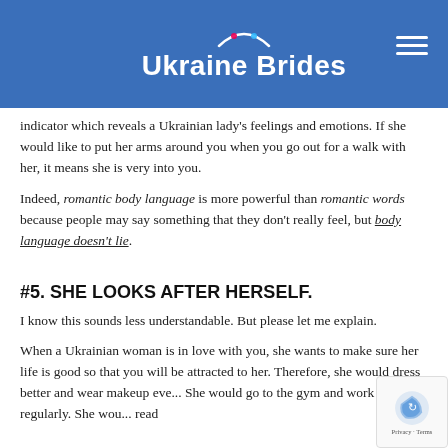Ukraine Brides
indicator which reveals a Ukrainian lady's feelings and emotions. If she would like to put her arms around you when you go out for a walk with her, it means she is very into you.
Indeed, romantic body language is more powerful than romantic words because people may say something that they don't really feel, but body language doesn't lie.
#5. SHE LOOKS AFTER HERSELF.
I know this sounds less understandable. But please let me explain.
When a Ukrainian woman is in love with you, she wants to make sure her life is good so that you will be attracted to her. Therefore, she would dress better and wear makeup eve... She would go to the gym and work out regularly. She wou... read